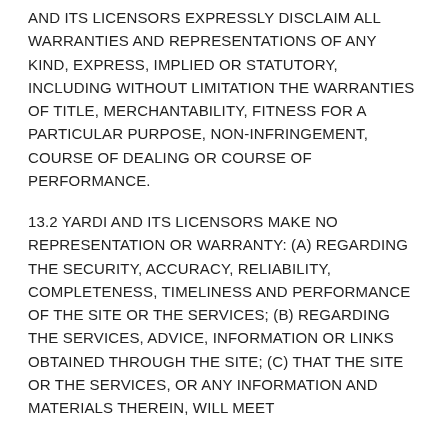AND ITS LICENSORS EXPRESSLY DISCLAIM ALL WARRANTIES AND REPRESENTATIONS OF ANY KIND, EXPRESS, IMPLIED OR STATUTORY, INCLUDING WITHOUT LIMITATION THE WARRANTIES OF TITLE, MERCHANTABILITY, FITNESS FOR A PARTICULAR PURPOSE, NON-INFRINGEMENT, COURSE OF DEALING OR COURSE OF PERFORMANCE.
13.2 YARDI AND ITS LICENSORS MAKE NO REPRESENTATION OR WARRANTY: (A) REGARDING THE SECURITY, ACCURACY, RELIABILITY, COMPLETENESS, TIMELINESS AND PERFORMANCE OF THE SITE OR THE SERVICES; (B) REGARDING THE SERVICES, ADVICE, INFORMATION OR LINKS OBTAINED THROUGH THE SITE; (C) THAT THE SITE OR THE SERVICES, OR ANY INFORMATION AND MATERIALS THEREIN, WILL MEET